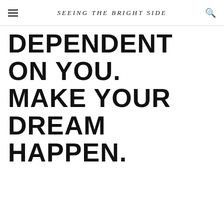SEEING THE BRIGHT SIDE
DEPENDENT ON YOU. MAKE YOUR DREAM HAPPEN.